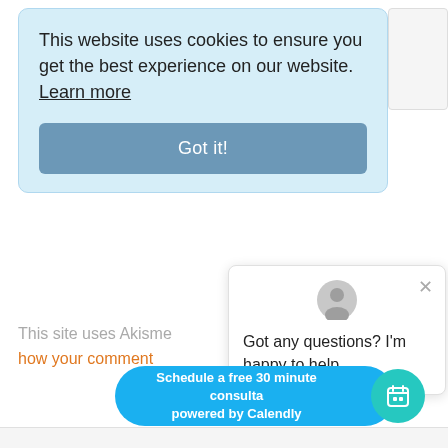This website uses cookies to ensure you get the best experience on our website. Learn more
Got it!
POST COMMENT
This site uses Akisme how your comment
[Figure (screenshot): Chat popup with user avatar, close button, and message: Got any questions? I'm happy to help.]
Schedule a free 30 minute consulta powered by Calendly